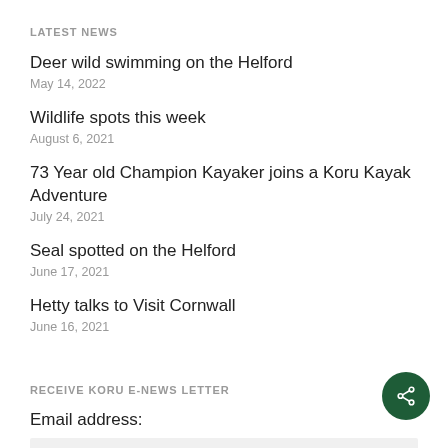LATEST NEWS
Deer wild swimming on the Helford
May 14, 2022
Wildlife spots this week
August 6, 2021
73 Year old Champion Kayaker joins a Koru Kayak Adventure
July 24, 2021
Seal spotted on the Helford
June 17, 2021
Hetty talks to Visit Cornwall
June 16, 2021
RECEIVE KORU E-NEWS LETTER
Email address:
Your email address